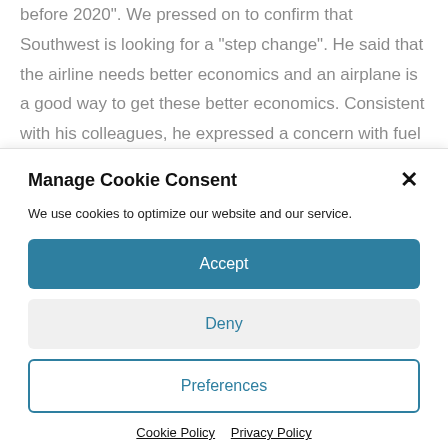before 2020".  We pressed on to confirm that Southwest is looking for a “step change".  He said that the airline needs better economics and an airplane is a good way to get these better economics.  Consistent with his colleagues, he expressed a concern with fuel prices.  He feels they cannot wait 15 years for the step change.  He pointed out that post the AirTran
Manage Cookie Consent
We use cookies to optimize our website and our service.
Accept
Deny
Preferences
Cookie Policy   Privacy Policy